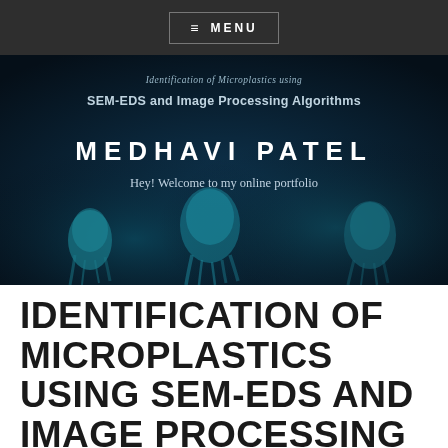≡ MENU
[Figure (illustration): Dark blue hero banner with jellyfish-like teal organic shapes in the background. Contains partial title text 'Identification of Microplastics using SEM-EDS and Image Processing Algorithms', author name 'MEDHAVI PATEL', and tagline 'Hey! Welcome to my online portfolio'.]
IDENTIFICATION OF MICROPLASTICS USING SEM-EDS AND IMAGE PROCESSING ALGORITHMS